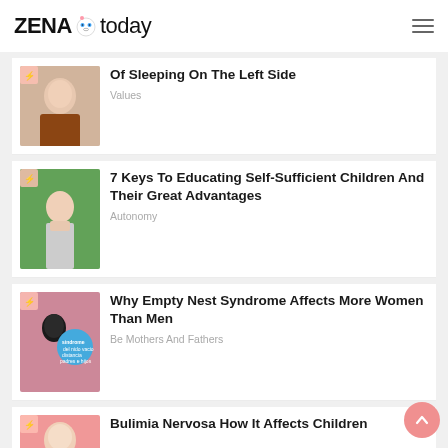ZENA today
Of Sleeping On The Left Side
Values
7 Keys To Educating Self-Sufficient Children And Their Great Advantages
Autonomy
Why Empty Nest Syndrome Affects More Women Than Men
Be Mothers And Fathers
Bulimia Nervosa How It Affects Children